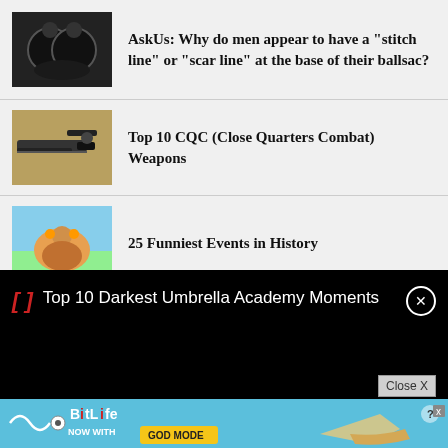AskUs: Why do men appear to have a "stitch line" or "scar line" at the base of their ballsac?
Top 10 CQC (Close Quarters Combat) Weapons
25 Funniest Events in History
Top 10 Darkest Umbrella Academy Moments
[Figure (screenshot): BitLife ad banner: NOW WITH GOD MODE]
Close X